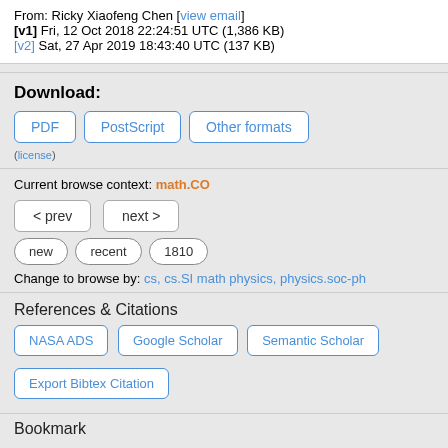From: Ricky Xiaofeng Chen [view email]
[v1] Fri, 12 Oct 2018 22:24:51 UTC (1,386 KB)
[v2] Sat, 27 Apr 2019 18:43:40 UTC (137 KB)
Download:
PDF | PostScript | Other formats
(license)
Current browse context: math.CO
< prev | next > | new | recent | 1810
Change to browse by: cs, cs.SI math physics, physics.soc-ph
References & Citations
NASA ADS | Google Scholar | Semantic Scholar | Export Bibtex Citation
Bookmark